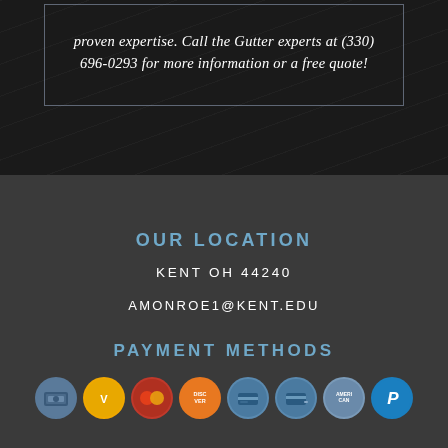proven expertise. Call the Gutter experts at (330) 696-0293 for more information or a free quote!
OUR LOCATION
KENT OH 44240
AMONROE1@KENT.EDU
PAYMENT METHODS
[Figure (infographic): Row of 8 circular payment method icons: cash, Visa, Mastercard, Discover, credit card, credit card, American Express, PayPal]